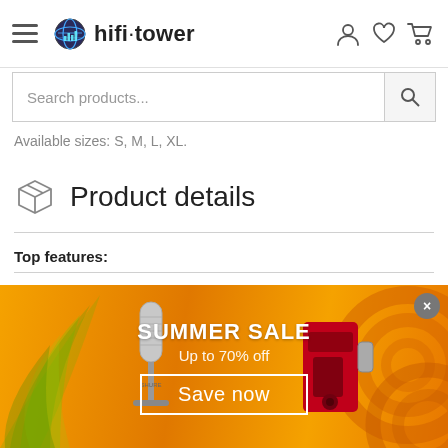hifi·tower navigation header with hamburger menu, logo, and icons
Search products...
Available sizes: S, M, L, XL.
Product details
Top features:
Compression-shirt for men with medium compression level
[Figure (screenshot): Summer sale promotional banner with orange/yellow background, palm leaves, microphone and coffee machine products, text: SUMMER SALE Up to 70% off Save now, with close button]